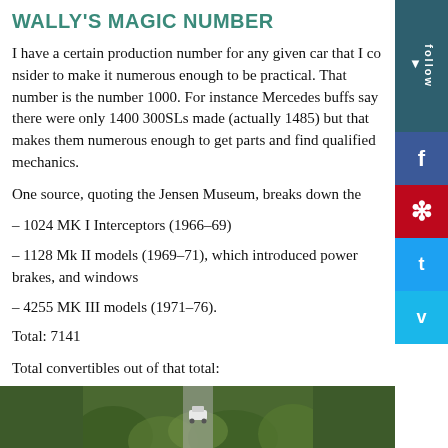WALLY'S MAGIC NUMBER
I have a certain production number for any given car that I consider to make it numerous enough to be practical. That number is the number 1000. For instance Mercedes buffs say there were only 1400 300SLs made (actually 1485) but that makes them numerous enough to get parts and find qualified mechanics.
One source, quoting the Jensen Museum, breaks down the production numbers as follows:
– 1024 MK I Interceptors (1966–69)
– 1128 Mk II models (1969–71), which introduced power brakes, and windows
– 4255 MK III models (1971–76).
Total: 7141
Total convertibles out of that total:
– 456 convertibles from 1973–76.
Qvale is said to be the driving force for having a convertible introduced in 1974, with the idea of supplying the American market. Some say 500 convertibles were made, but perhaps that was the number for
[Figure (photo): Outdoor photo showing a white car on a path surrounded by green foliage/trees]